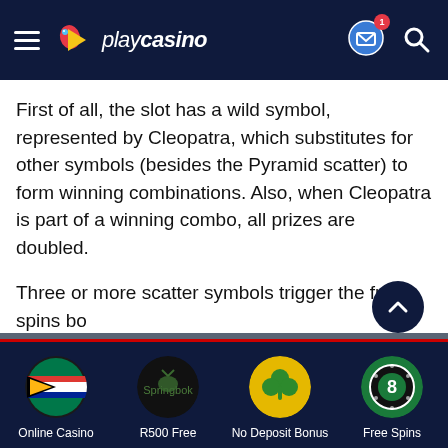playcasino
First of all, the slot has a wild symbol, represented by Cleopatra, which substitutes for other symbols (besides the Pyramid scatter) to form winning combinations. Also, when Cleopatra is part of a winning combo, all prizes are doubled.
Three or more scatter symbols trigger the free spins bo...
We use cookies in order to optimise our site and improve your experience with us. By using the site you consent to our Cookie Policy.
Online Casino | R500 Free | No Deposit Bonus | Free Spins